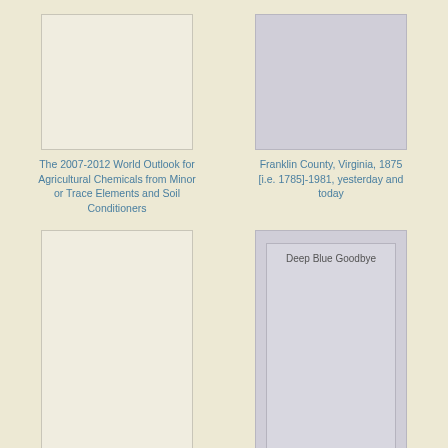[Figure (illustration): Book cover thumbnail - cream/beige colored plain cover, top half visible]
[Figure (illustration): Book cover thumbnail - gray colored cover with inner border, top half visible]
The 2007-2012 World Outlook for Agricultural Chemicals from Minor or Trace Elements and Soil Conditioners
Franklin County, Virginia, 1875 [i.e. 1785]-1981, yesterday and today
[Figure (illustration): Book cover thumbnail - cream/beige colored plain cover, full cover visible]
[Figure (illustration): Book cover thumbnail - gray colored cover with inner border and title text 'Deep Blue Goodbye']
Deep Blue Goodbye
Deep Blue Goodbye